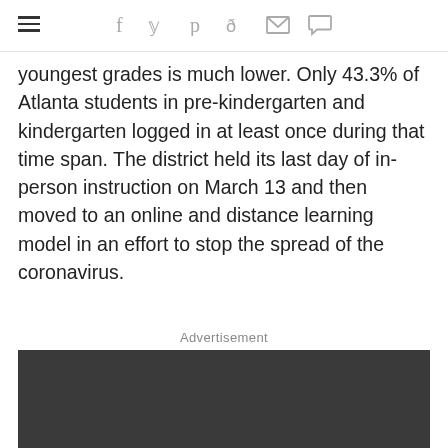☰ f 𝕏 p d ✉ ◯
youngest grades is much lower. Only 43.3% of Atlanta students in pre-kindergarten and kindergarten logged in at least once during that time span. The district held its last day of in-person instruction on March 13 and then moved to an online and distance learning model in an effort to stop the spread of the coronavirus.
Advertisement
[Figure (other): Dark advertisement placeholder box]